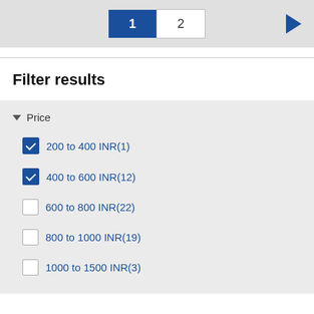1  2  ▶
Filter results
▼ Price
☑ 200 to 400 INR(1)
☑ 400 to 600 INR(12)
☐ 600 to 800 INR(22)
☐ 800 to 1000 INR(19)
☐ 1000 to 1500 INR(3)